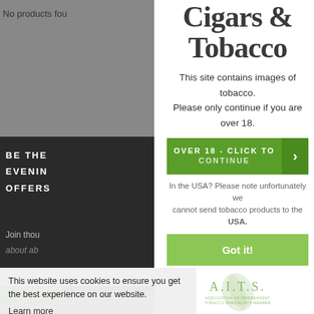No products found
BE THE FIRST TO KNOW ABOUT EVENING OFFERS
Join thou
about ab
Cigars & Tobacco
This site contains images of tobacco. Please only continue if you are over 18.
OVER 18 - CLICK TO CONTINUE
In the USA? Please note unfortunately we cannot send tobacco products to the USA.
This website uses cookies to ensure you get the best experience on our website.
Learn more
Got it!
[Figure (logo): A.I.J.T.S. Association of Independent Tobacco Specialists Member logo]